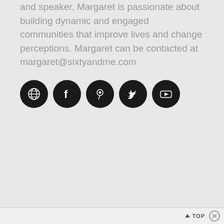and speaker. Margaret is passionate about building dynamic and engaged communities that improve lives and change perceptions. Margaret can be contacted at margaret@sixtyandme.com
[Figure (illustration): Five social media icon circles in black: globe/website, Facebook, Pinterest, Twitter, YouTube]
▲ TOP ✕